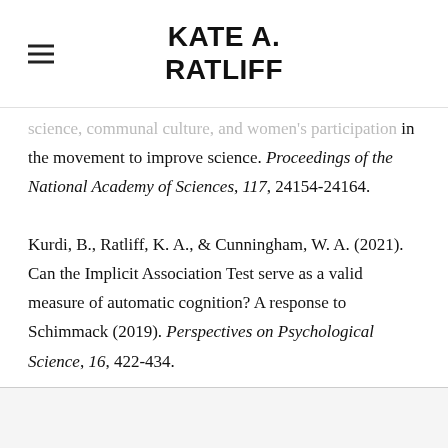KATE A. RATLIFF
science, communal culture, and women's participation in the movement to improve science. Proceedings of the National Academy of Sciences, 117, 24154-24164.
Kurdi, B., Ratliff, K. A., & Cunningham, W. A. (2021). Can the Implicit Association Test serve as a valid measure of automatic cognition? A response to Schimmack (2019). Perspectives on Psychological Science, 16, 422-434.